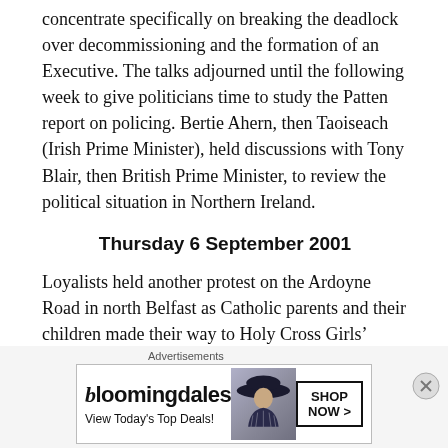concentrate specifically on breaking the deadlock over decommissioning and the formation of an Executive. The talks adjourned until the following week to give politicians time to study the Patten report on policing. Bertie Ahern, then Taoiseach (Irish Prime Minister), held discussions with Tony Blair, then British Prime Minister, to review the political situation in Northern Ireland.
Thursday 6 September 2001
Loyalists held another protest on the Ardoyne Road in north Belfast as Catholic parents and their children made their way to Holy Cross Girls' Primary School. The protest was peaceful but very noisy as protesters used air horns (klaxons), blew whistles, and banged metal bin lids, as the children passed along the security cordon.
[Figure (infographic): Bloomingdale's advertisement banner with text 'bloomingdales', 'View Today's Top Deals!', 'SHOP NOW >' button, and an image of a woman in a hat]